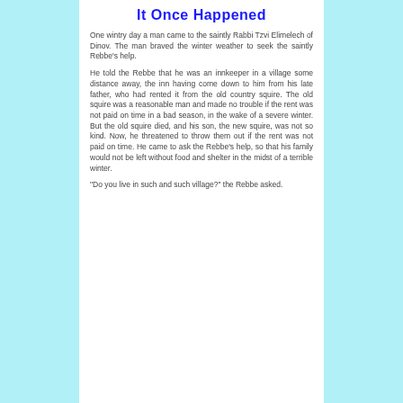It Once Happened
One wintry day a man came to the saintly Rabbi Tzvi Elimelech of Dinov. The man braved the winter weather to seek the saintly Rebbe's help.
He told the Rebbe that he was an innkeeper in a village some distance away, the inn having come down to him from his late father, who had rented it from the old country squire. The old squire was a reasonable man and made no trouble if the rent was not paid on time in a bad season, in the wake of a severe winter. But the old squire died, and his son, the new squire, was not so kind. Now, he threatened to throw them out if the rent was not paid on time. He came to ask the Rebbe's help, so that his family would not be left without food and shelter in the midst of a terrible winter.
"Do you live in such and such village?" the Rebbe asked.